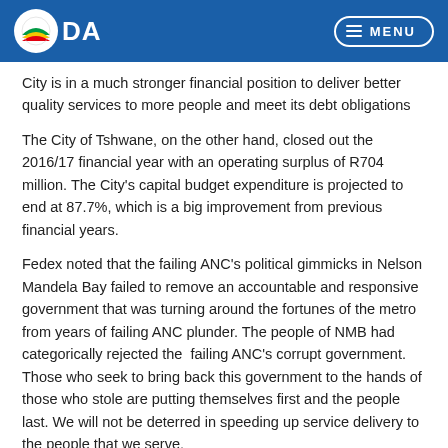DA MENU
City is in a much stronger financial position to deliver better quality services to more people and meet its debt obligations
The City of Tshwane, on the other hand, closed out the 2016/17 financial year with an operating surplus of R704 million. The City's capital budget expenditure is projected to end at 87.7%, which is a big improvement from previous financial years.
Fedex noted that the failing ANC's political gimmicks in Nelson Mandela Bay failed to remove an accountable and responsive government that was turning around the fortunes of the metro from years of failing ANC plunder. The people of NMB had categorically rejected the failing ANC's corrupt government. Those who seek to bring back this government to the hands of those who stole are putting themselves first and the people last. We will not be deterred in speeding up service delivery to the people that we serve.